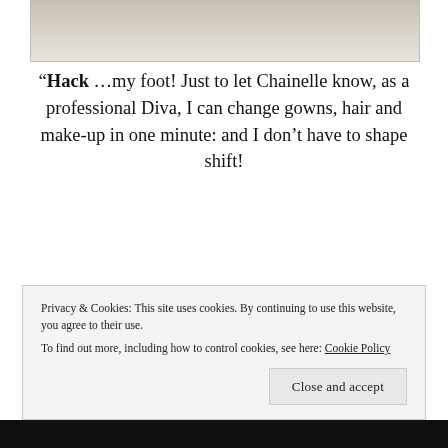[Figure (illustration): Partial illustration showing the bottom of a sketch/drawing, visible at the top of the page]
“Hack …my foot! Just to let Chainelle know, as a professional Diva, I can change gowns, hair and make-up in one minute: and I don’t have to shape shift!
Princess Blue Holly & Rene Rosso characters © Resa McConaghy & Holly Rene Hunter – Since September 2019
Privacy & Cookies: This site uses cookies. By continuing to use this website, you agree to their use.
To find out more, including how to control cookies, see here: Cookie Policy
Close and accept